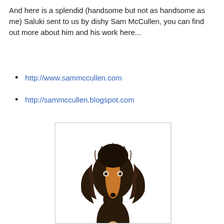And here is a splendid (handsome but not as handsome as me) Saluki sent to us by dishy Sam McCullen, you can find out more about him and his work here...
http://www.sammccullen.com
http://sammccullen.blogspot.com
[Figure (illustration): Illustration of a Saluki dog with dark shaggy fur, tan/orange face stripe, two small eyes, black nose, viewed from front/above. The dog has long flowing fur on the sides and a narrow elongated face.]